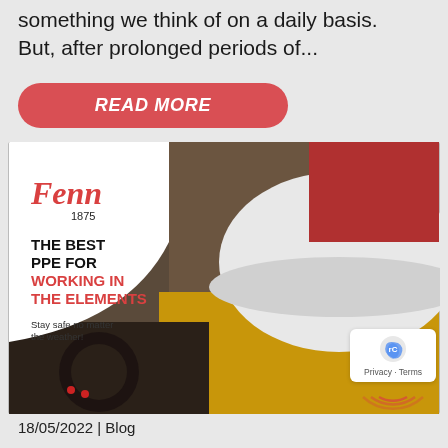something we think of on a daily basis. But, after prolonged periods of...
READ MORE
[Figure (illustration): Fenn 1875 branded promotional image showing PPE equipment including a white hard hat, yellow gloves, and construction tools. Text overlay reads: THE BEST PPE FOR WORKING IN THE ELEMENTS. Stay safe no matter the weather!]
18/05/2022 | Blog